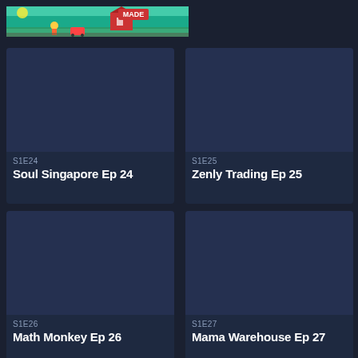[Figure (illustration): Colorful banner image with yellow background, teal wave, red barn/building, cartoon characters, and logo text 'MADE']
S1E24
Soul Singapore Ep 24
S1E25
Zenly Trading Ep 25
S1E26
Math Monkey Ep 26
S1E27
Mama Warehouse Ep 27